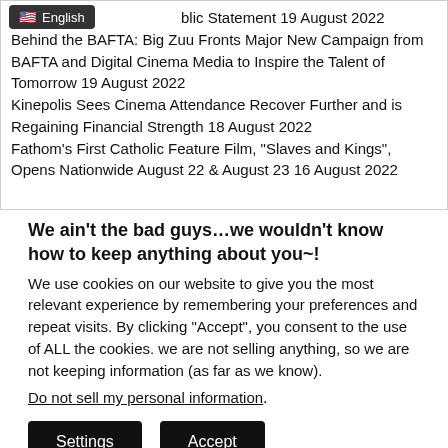Annual Holdings, Inc. Comments on Public Statement 19 August 2022
Behind the BAFTA: Big Zuu Fronts Major New Campaign from BAFTA and Digital Cinema Media to Inspire the Talent of Tomorrow 19 August 2022
Kinepolis Sees Cinema Attendance Recover Further and is Regaining Financial Strength 18 August 2022
Fathom’s First Catholic Feature Film, “Slaves and Kings”, Opens Nationwide August 22 & August 23 16 August 2022
We ain’t the bad guys…we wouldn’t know how to keep anything about you~!
We use cookies on our website to give you the most relevant experience by remembering your preferences and repeat visits. By clicking “Accept”, you consent to the use of ALL the cookies. we are not selling anything, so we are not keeping information (as far as we know).
Do not sell my personal information.